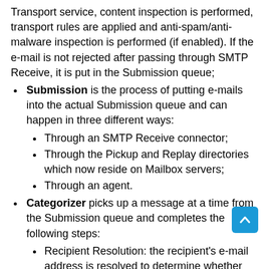Transport service, content inspection is performed, transport rules are applied and anti-spam/anti-malware inspection is performed (if enabled). If the e-mail is not rejected after passing through SMTP Receive, it is put in the Submission queue;
Submission is the process of putting e-mails into the actual Submission queue and can happen in three different ways:
Through an SMTP Receive connector;
Through the Pickup and Replay directories which now reside on Mailbox servers;
Through an agent.
Categorizer picks up a message at a time from the Submission queue and completes the following steps:
Recipient Resolution: the recipient's e-mail address is resolved to determine whether the recipient has a mailbox in the Exchange organization or an external e-mail address;
Routing Resolution: after information regarding...